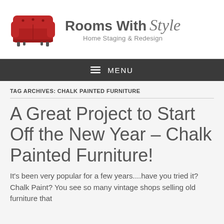[Figure (logo): Rooms With Style logo: red chesterfield sofa illustration on left, brand name 'Rooms With Style' in bold and italic script on right, with tagline 'Home Staging & Redesign' below]
≡ MENU
TAG ARCHIVES: CHALK PAINTED FURNITURE
A Great Project to Start Off the New Year – Chalk Painted Furniture!
It's been very popular for a few years....have you tried it? Chalk Paint? You see so many vintage shops selling old furniture that